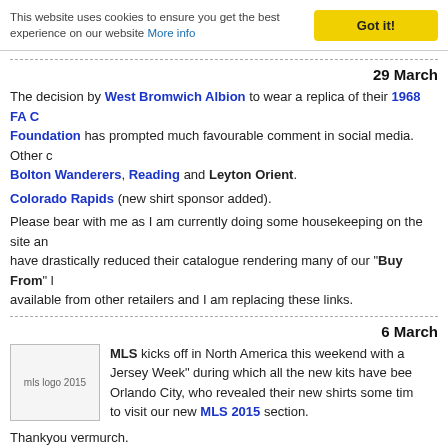This website uses cookies to ensure you get the best experience on our website More info  Got it!
29 March
The decision by West Bromwich Albion to wear a replica of their 1968 FA C... Foundation has prompted much favourable comment in social media. Other c... Bolton Wanderers, Reading and Leyton Orient.
Colorado Rapids (new shirt sponsor added).
Please bear with me as I am currently doing some housekeeping on the site an... have drastically reduced their catalogue rendering many of our "Buy From" l... available from other retailers and I am replacing these links.
6 March
[Figure (logo): mls logo 2015 placeholder image]
MLS kicks off in North America this weekend with a... Jersey Week" during which all the new kits have bee... Orlando City, who revealed their new shirts some tim... to visit our new MLS 2015 section.
Thankyou vermurch.